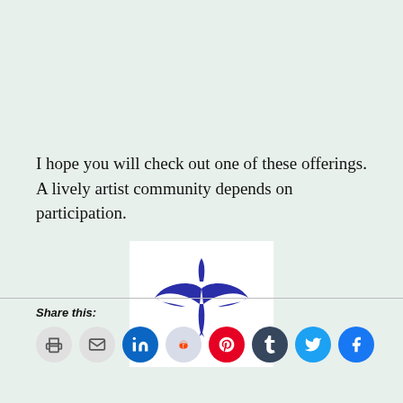I hope you will check out one of these offerings. A lively artist community depends on participation.
[Figure (logo): A stylized bird or pen nib logo in dark blue/navy on white background, resembling a flying bird with a calligraphy pen nib at the bottom center.]
Share this: